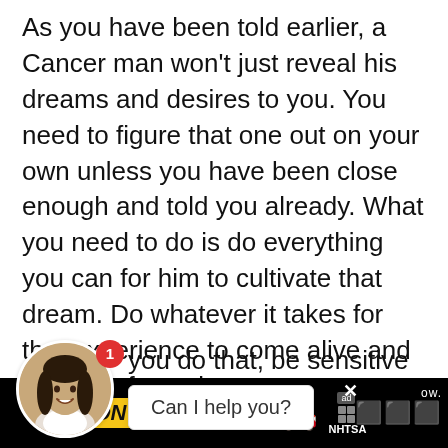As you have been told earlier, a Cancer man won't just reveal his dreams and desires to you. You need to figure that one out on your own unless you have been close enough and told you already. What you need to do is do everything you can for him to cultivate that dream. Do whatever it takes for that experience to come alive and meet his fantasies.
[avatar + notification] you do that, be sensitive about it. [man] [Can I help you?] one, even your best friend, girlie. And when he finally
[Figure (other): Chat widget or notification popup with 'Can I help you?' tooltip, avatar of a woman, and red notification badge showing '1']
[Figure (other): Advertisement banner: DON'T TEXT AND [car emoji] ad badge NHTSA, with close button and media logo on right, partial text 'ex' and 'th' and 'ow.' visible]